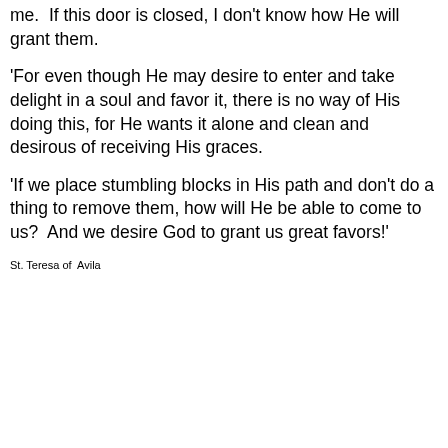me.  If this door is closed, I don't know how He will grant them.
'For even though He may desire to enter and take delight in a soul and favor it, there is no way of His doing this, for He wants it alone and clean and desirous of receiving His graces.
'If we place stumbling blocks in His path and don't do a thing to remove them, how will He be able to come to us?  And we desire God to grant us great favors!'
St. Teresa of  Avila